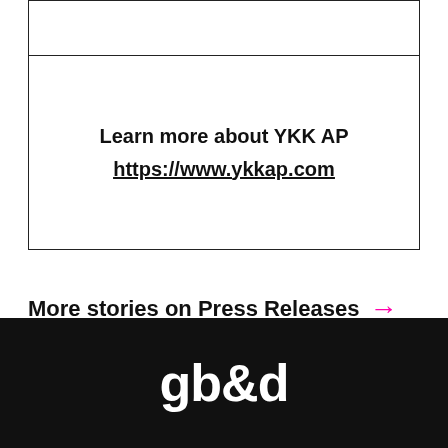Learn more about YKK AP
https://www.ykkap.com
More stories on Press Releases →
gb&d